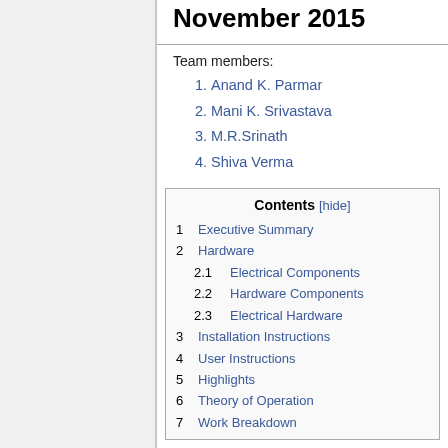November 2015
Team members:
1. Anand K. Parmar
2. Mani K. Srivastava
3. M.R.Srinath
4. Shiva Verma
| # | Section |
| --- | --- |
| 1 | Executive Summary |
| 2 | Hardware |
| 2.1 | Electrical Components |
| 2.2 | Hardware Components |
| 2.3 | Electrical Hardware |
| 3 | Installation Instructions |
| 4 | User Instructions |
| 5 | Highlights |
| 6 | Theory of Operation |
| 7 | Work Breakdown |